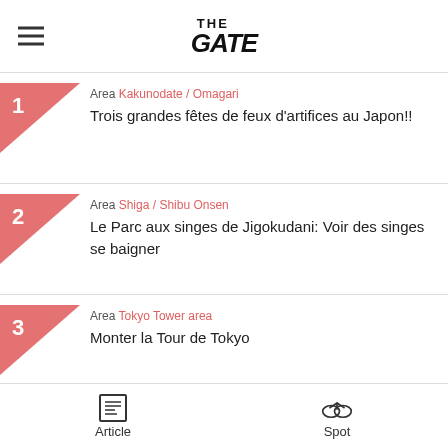THE GATE
Area: Kakunodate / Omagari
Trois grandes fêtes de feux d'artifices au Japon!!
Area: Shiga / Shibu Onsen
Le Parc aux singes de Jigokudani: Voir des singes se baigner
Area: Tokyo Tower area
Monter la Tour de Tokyo
Article  Spot